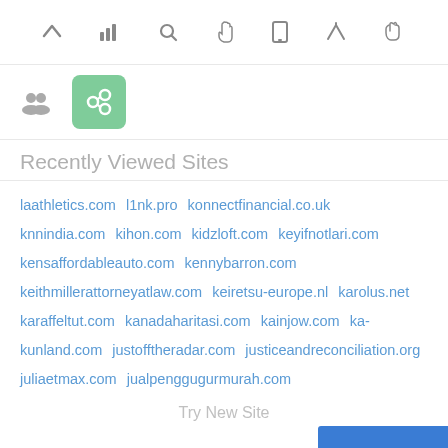[Figure (screenshot): Browser toolbar with navigation and action icons: up arrow, bar chart, search, hand/cursor, mobile device, send/navigate, thumbs up]
[Figure (screenshot): Second icon row with a people/group icon and a highlighted green link icon box]
Recently Viewed Sites
laathletics.com  l1nk.pro  konnectfinancial.co.uk  knnindia.com  kihon.com  kidzloft.com  keyifnotlari.com  kensaffordableauto.com  kennybarron.com  keithmillerattorneyatlaw.com  keiretsu-europe.nl  karolus.net  karaffeltut.com  kanadaharitasi.com  kainjow.com  ka-kunland.com  justofftheradar.com  justiceandreconciliation.org  juliaetmax.com  jualpengguгурmurah.com
Try New Site